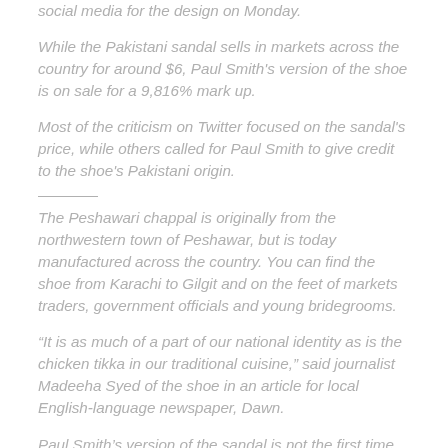social media for the design on Monday.
While the Pakistani sandal sells in markets across the country for around $6, Paul Smith's version of the shoe is on sale for a 9,816% mark up.
Most of the criticism on Twitter focused on the sandal's price, while others called for Paul Smith to give credit to the shoe's Pakistani origin.
The Peshawari chappal is originally from the northwestern town of Peshawar, but is today manufactured across the country. You can find the shoe from Karachi to Gilgit and on the feet of markets traders, government officials and young bridegrooms.
“It is as much of a part of our national identity as is the chicken tikka in our traditional cuisine,” said journalist Madeeha Syed of the shoe in an article for local English-language newspaper, Dawn.
Paul Smith’s version of the sandal is not the first time that the quintessentially Pakistani shoe has